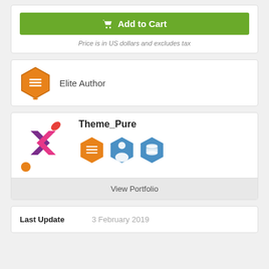Add to Cart
Price is in US dollars and excludes tax
Elite Author
[Figure (logo): Theme_Pure logo with purple P shape and orange dot]
Theme_Pure
[Figure (illustration): Three hexagon badges: orange Elite badge, blue author badge, blue database badge]
View Portfolio
| Last Update |  |
| --- | --- |
| Last Update | 3 February 2019 |